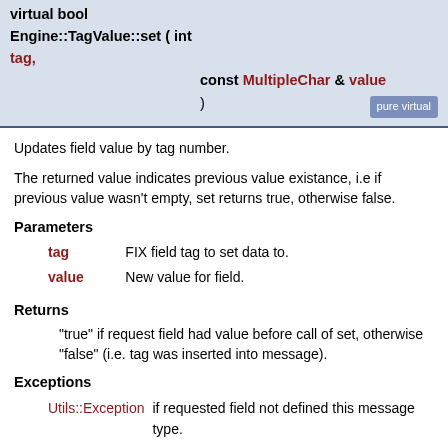virtual bool Engine::TagValue::set ( int tag, const MultipleChar & value ) pure virtual
Updates field value by tag number.
The returned value indicates previous value existance, i.e if previous value wasn't empty, set returns true, otherwise false.
Parameters
tag  FIX field tag to set data to.
value  New value for field.
Returns
"true" if request field had value before call of set, otherwise "false" (i.e. tag was inserted into message).
Exceptions
Utils::Exception  if requested field not defined this message type.